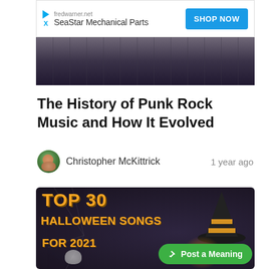[Figure (screenshot): Advertisement banner for SeaStar Mechanical Parts from fredwarner.net with a blue SHOP NOW button]
[Figure (photo): Dark architectural image, appears to be a building exterior with dark tones]
The History of Punk Rock Music and How It Evolved
Christopher McKittrick    1 year ago
[Figure (illustration): Halloween themed image with text TOP 30 HALLOWEEN SONGS FOR 2021 in orange font, with a witch hat and pumpkin decoration. Has a green Post a Meaning button overlay.]